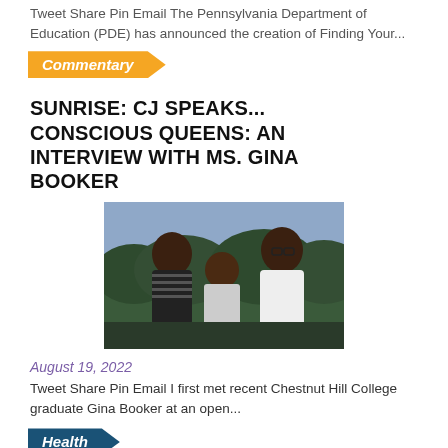Tweet Share Pin Email The Pennsylvania Department of Education (PDE) has announced the creation of Finding Your...
Commentary
SUNRISE: CJ SPEAKS... CONSCIOUS QUEENS: AN INTERVIEW WITH MS. GINA BOOKER
[Figure (photo): Three young Black women/girls posing together outdoors, smiling at camera]
August 19, 2022
Tweet Share Pin Email I first met recent Chestnut Hill College graduate Gina Booker at an open...
Health
HOLOGIC AND MARY J. BLIGE LAUNCH “GOOD MORNING GORGEOUS” SWEEPSTAKES TO